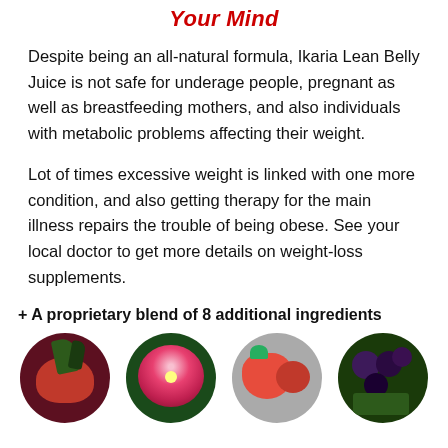Your Mind
Despite being an all-natural formula, Ikaria Lean Belly Juice is not safe for underage people, pregnant as well as breastfeeding mothers, and also individuals with metabolic problems affecting their weight.
Lot of times excessive weight is linked with one more condition, and also getting therapy for the main illness repairs the trouble of being obese. See your local doctor to get more details on weight-loss supplements.
+ A proprietary blend of 8 additional ingredients
[Figure (photo): Four circular photos of food/plant ingredients: beet root vegetables, hibiscus flower, strawberries/tomatoes, and dark berries/greens.]